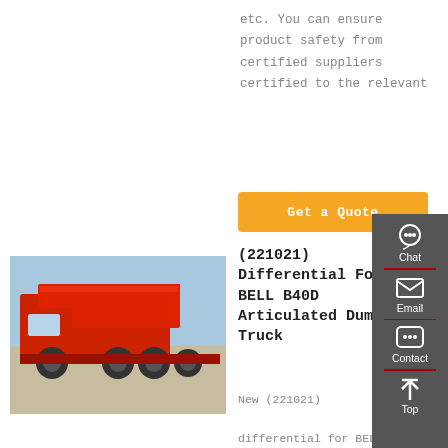etc. You can ensure product safety from certified suppliers certified to the relevant
[Figure (other): Orange 'Get a Quote' button]
[Figure (photo): Red dump truck / articulated truck parked outdoors]
(221021) Differential For BELL B40D Articulated Dump Truck
New (221021)
differential for BELL
[Figure (other): Right sidebar with Chat, Email, Contact, Top navigation icons on dark grey background]